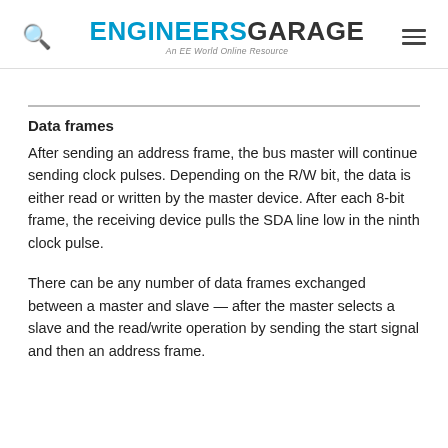ENGINEERS GARAGE — An EE World Online Resource
Data frames
After sending an address frame, the bus master will continue sending clock pulses. Depending on the R/W bit, the data is either read or written by the master device. After each 8-bit frame, the receiving device pulls the SDA line low in the ninth clock pulse.
There can be any number of data frames exchanged between a master and slave — after the master selects a slave and the read/write operation by sending the start signal and then an address frame.